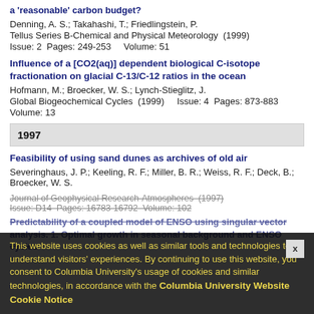a 'reasonable' carbon budget?
Denning, A. S.; Takahashi, T.; Friedlingstein, P.
Tellus Series B-Chemical and Physical Meteorology (1999)
Issue: 2  Pages: 249-253    Volume: 51
Influence of a [CO2(aq)] dependent biological C-isotope fractionation on glacial C-13/C-12 ratios in the ocean
Hofmann, M.; Broecker, W. S.; Lynch-Stieglitz, J.
Global Biogeochemical Cycles (1999)    Issue: 4  Pages: 873-883
Volume: 13
1997
Feasibility of using sand dunes as archives of old air
Severinghaus, J. P.; Keeling, R. F.; Miller, B. R.; Weiss, R. F.; Deck, B.; Broecker, W. S.
Journal of Geophysical Research-Atmospheres (1997)
Issue: D14  Pages: 16783-16792  Volume: 102
Predictability of a coupled model of ENSO using singular vector analysis. 1. Optimal growth in seasonal background and ENSO cycles
Cookie notice overlay: This website uses cookies as well as similar tools and technologies to understand visitors' experiences. By continuing to use this website, you consent to Columbia University's usage of cookies and similar technologies, in accordance with the Columbia University Website Cookie Notice